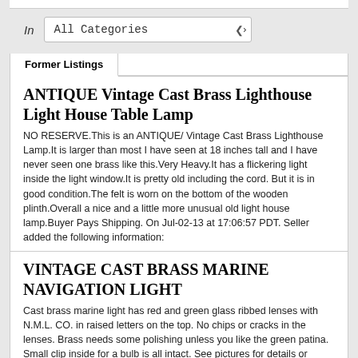[Figure (screenshot): Search filter row with 'In' label and 'All Categories' dropdown selector]
Former Listings
ANTIQUE Vintage Cast Brass Lighthouse Light House Table Lamp
NO RESERVE.This is an ANTIQUE/ Vintage Cast Brass Lighthouse Lamp.It is larger than most I have seen at 18 inches tall and I have never seen one brass like this.Very Heavy.It has a flickering light inside the light window.It is pretty old including the cord. But it is in good condition.The felt is worn on the bottom of the wooden plinth.Overall a nice and a little more unusual old light house lamp.Buyer Pays Shipping. On Jul-02-13 at 17:06:57 PDT. Seller added the following information:
VINTAGE CAST BRASS MARINE NAVIGATION LIGHT
Cast brass marine light has red and green glass ribbed lenses with N.M.L. CO. in raised letters on the top. No chips or cracks in the lenses. Brass needs some polishing unless you like the green patina. Small clip inside for a bulb is all intact. See pictures for details or contact me for more questions.